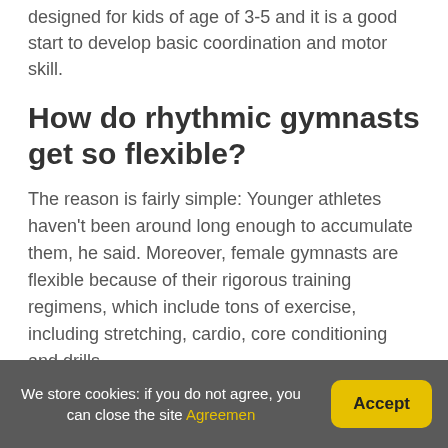designed for kids of age of 3-5 and it is a good start to develop basic coordination and motor skill.
How do rhythmic gymnasts get so flexible?
The reason is fairly simple: Younger athletes haven't been around long enough to accumulate them, he said. Moreover, female gymnasts are flexible because of their rigorous training regimens, which include tons of exercise, including stretching, cardio, core conditioning and drills.
How tall is the average
We store cookies: if you do not agree, you can close the site Agreemen